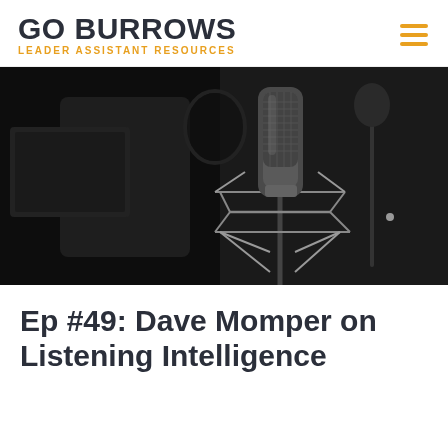GO BURROWS — LEADER ASSISTANT RESOURCES
[Figure (photo): Close-up photograph of a professional studio condenser microphone on a shock mount in a dark recording studio setting]
Ep #49: Dave Momper on Listening Intelligence